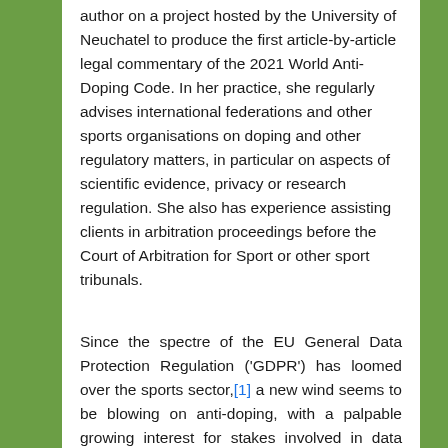author on a project hosted by the University of Neuchatel to produce the first article-by-article legal commentary of the 2021 World Anti-Doping Code. In her practice, she regularly advises international federations and other sports organisations on doping and other regulatory matters, in particular on aspects of scientific evidence, privacy or research regulation. She also has experience assisting clients in arbitration proceedings before the Court of Arbitration for Sport or other sport tribunals.
Since the spectre of the EU General Data Protection Regulation ('GDPR') has loomed over the sports sector,[1] a new wind seems to be blowing on anti-doping, with a palpable growing interest for stakes involved in data processing. Nothing that would quite qualify as a wind of change yet, but a gentle breeze of awareness at the very least.
Though the GDPR does mention the fight against doping in